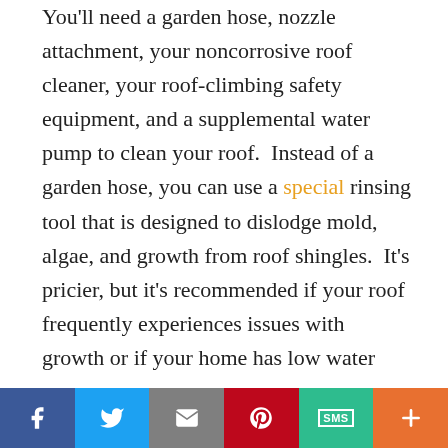You'll need a garden hose, nozzle attachment, your noncorrosive roof cleaner, your roof-climbing safety equipment, and a supplemental water pump to clean your roof.  Instead of a garden hose, you can use a special rinsing tool that is designed to dislodge mold, algae, and growth from roof shingles.  It's pricier, but it's recommended if your roof frequently experiences issues with growth or if your home has low water pressure.
Overall, here's how you'll clean your roof free of mold and crud: you'll start by saturating a vast area of your roof's shingles with your cleaner,
[Figure (infographic): Social media sharing bar with buttons for Facebook (blue), Twitter (light blue), Email (grey), Pinterest (red), SMS (teal/green), and More (orange)]